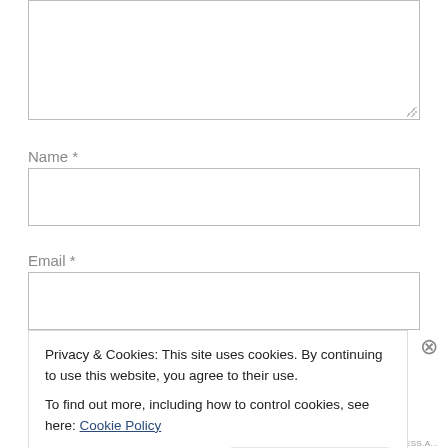[Figure (screenshot): A text area input box (empty), partially shown at the top of the page with a resize handle in the bottom-right corner.]
Name *
[Figure (screenshot): An empty text input field for Name.]
Email *
[Figure (screenshot): An empty text input field for Email.]
Website
Privacy & Cookies: This site uses cookies. By continuing to use this website, you agree to their use.
To find out more, including how to control cookies, see here: Cookie Policy
Close and accept